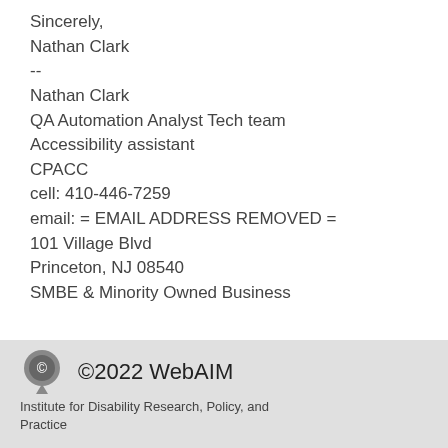Sincerely,
Nathan Clark
--
Nathan Clark
QA Automation Analyst Tech team
Accessibility assistant
CPACC
cell: 410-446-7259
email: = EMAIL ADDRESS REMOVED =
101 Village Blvd
Princeton, NJ 08540
SMBE & Minority Owned Business
©2022 WebAIM
Institute for Disability Research, Policy, and Practice